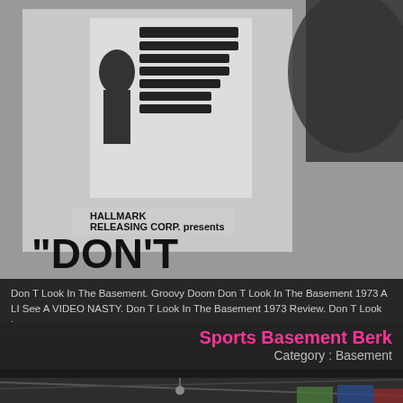[Figure (photo): Black and white movie poster image showing 'HALLMARK RELEASING CORP. presents' and partial text 'DON'T' with film poster graphics]
Don T Look In The Basement. Groovy Doom Don T Look In The Basement 1973 A LI See A VIDEO NASTY. Don T Look In The Basement 1973 Review. Don T Look In
Sports Basement Berk
Category : Basement
[Figure (photo): Interior photo of a large basement or warehouse retail space with exposed ceiling, hanging light fixture, and colorful murals/signage on walls]